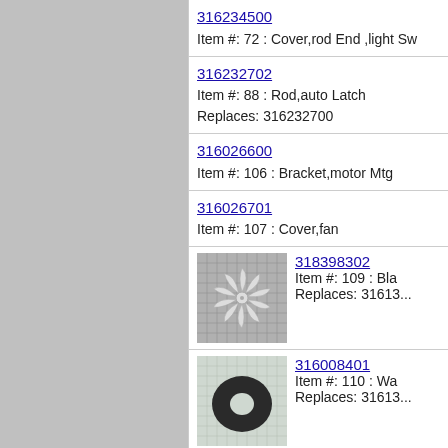316234500
Item #: 72 : Cover,rod End ,light Sw
316232702
Item #: 88 : Rod,auto Latch
Replaces: 316232700
316026600
Item #: 106 : Bracket,motor Mtg
316026701
Item #: 107 : Cover,fan
318398302
Item #: 109 : Bla
Replaces: 31613...
316008401
Item #: 110 : Wa
Replaces: 31613...
316136600
Item #: 111 : Nut,fan Retainer
316239300
Item #: 151 : Shield,bodyside